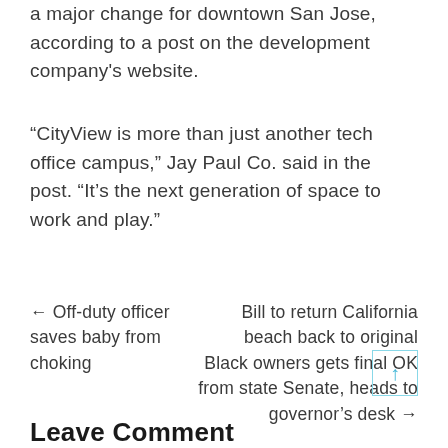a major change for downtown San Jose, according to a post on the development company's website.
“CityView is more than just another tech office campus,” Jay Paul Co. said in the post. “It’s the next generation of space to work and play.”
← Off-duty officer saves baby from choking
Bill to return California beach back to original Black owners gets final OK from state Senate, heads to governor’s desk →
Leave Comment